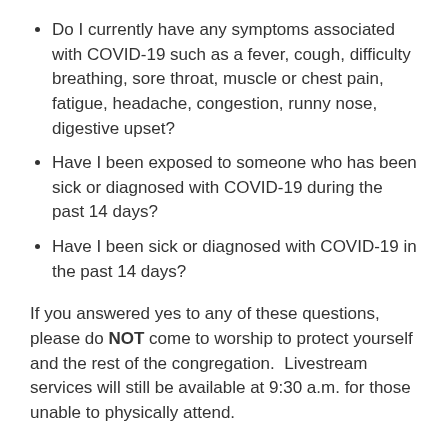Do I currently have any symptoms associated with COVID-19 such as a fever, cough, difficulty breathing, sore throat, muscle or chest pain, fatigue, headache, congestion, runny nose, digestive upset?
Have I been exposed to someone who has been sick or diagnosed with COVID-19 during the past 14 days?
Have I been sick or diagnosed with COVID-19 in the past 14 days?
If you answered yes to any of these questions, please do NOT come to worship to protect yourself and the rest of the congregation.  Livestream services will still be available at 9:30 a.m. for those unable to physically attend.
What's my part?